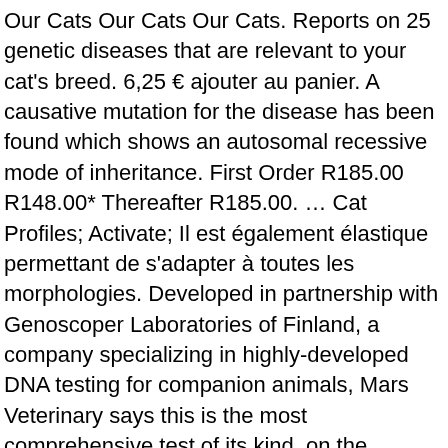Our Cats Our Cats Our Cats. Reports on 25 genetic diseases that are relevant to your cat's breed. 6,25 € ajouter au panier. A causative mutation for the disease has been found which shows an autosomal recessive mode of inheritance. First Order R185.00 R148.00* Thereafter R185.00. … Cat Profiles; Activate; Il est également élastique permettant de s'adapter à toutes les morphologies. Developed in partnership with Genoscoper Laboratories of Finland, a company specializing in highly-developed DNA testing for companion animals, Mars Veterinary says this is the most comprehensive test of its kind, on the market. The Lykoi Cat is a natural mutation from a domestic shorthair. Une teneur restreinte en énergie et en matières grasses pour aider votre chat à conserver son poids idéal. Optimal Selection™ Feline is out of stock and expected back by January 25th. Acute Intermittent Porphyria (Variant 5) - NEW! We want to keep you updated on recent changes to our breeder products and experience. There are many benefits that come with preparing your cats food at home. Home > Customer